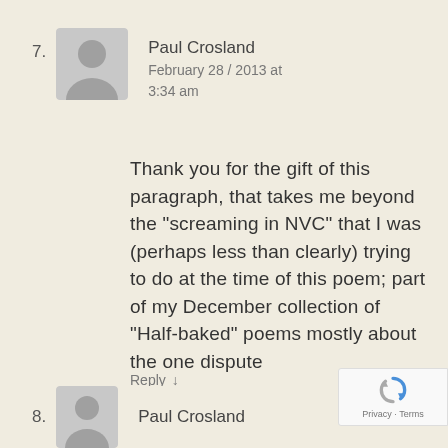7. Paul Crosland
February 28 / 2013 at 3:34 am
Thank you for the gift of this paragraph, that takes me beyond the "screaming in NVC" that I was (perhaps less than clearly) trying to do at the time of this poem; part of my December collection of "Half-baked" poems mostly about the one dispute
Reply ↓
8. Paul Crosland
[Figure (logo): reCAPTCHA logo with Privacy and Terms text]